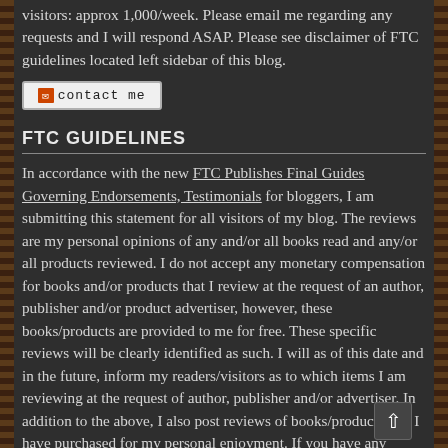visitors: approx 1,000/week. Please email me regarding any requests and I will respond ASAP. Please see disclaimer of FTC guidelines located left sidebar of this blog.
[Figure (other): Contact me button with envelope icon]
FTC GUIDELINES
In accordance with the new FTC Publishes Final Guides Governing Endorsements, Testimonials for bloggers, I am submitting this statement for all visitors of my blog. The reviews are my personal opinions of any and/or all books read and any/or all products reviewed. I do not accept any monetary compensation for books and/or products that I review at the request of an author, publisher and/or product advertiser, however, these books/products are provided to me for free. These specific reviews will be clearly identified as such. I will as of this date and in the future, inform my readers/visitors as to which items I am reviewing at the request of author, publisher and/or advertiser. In addition to the above, I also post reviews of books/products that I have purchased for my personal enjoyment. If you have any